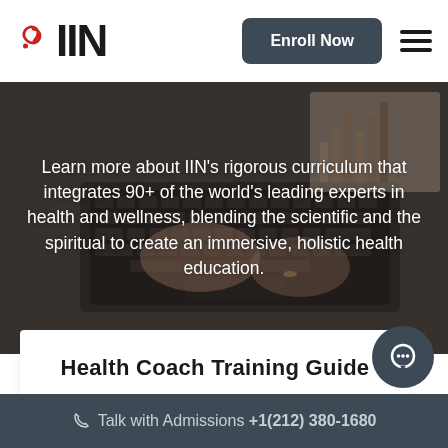[Figure (logo): IIN logo with red spiral icon and bold black IIN text]
Enroll Now
[Figure (photo): Person's hands typing on a MacBook laptop keyboard with documents or charts visible in the background, dark/moody tones]
Learn more about IIN's rigorous curriculum that integrates 90+ of the world's leading experts in health and wellness, blending the scientific and the spiritual to create an immersive, holistic health education.
Health Coach Training Guide
Talk with Admissions +1(212) 380-1680